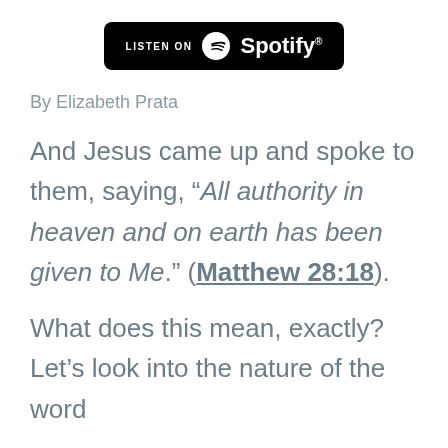[Figure (logo): Listen on Spotify button: black rounded rectangle with 'LISTEN ON' text and Spotify logo and wordmark in white]
By Elizabeth Prata
And Jesus came up and spoke to them, saying, “All authority in heaven and on earth has been given to Me.” (Matthew 28:18).
What does this mean, exactly? Let’s look into the nature of the word